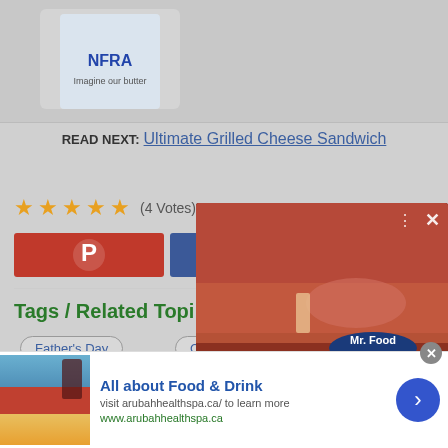[Figure (photo): Product box image at top of page, partially visible, showing a branded box (NFRA or similar) on grey background]
READ NEXT: Ultimate Grilled Cheese Sandwich
★★★★★ (4 Votes)
[Figure (other): Pinterest share button (red with Pinterest logo)]
[Figure (other): Facebook share button (blue with Facebook logo)]
Tags / Related Topi
Father's Day
Cheese
[Figure (other): Video player overlay showing Mr. Food Test Kitchen video with playback controls, mute button, progress bar, and close button]
[Figure (other): Advertisement banner: All about Food & Drink - visit arubahhealthspa.ca/ to learn more - www.arubahhealthspa.ca]